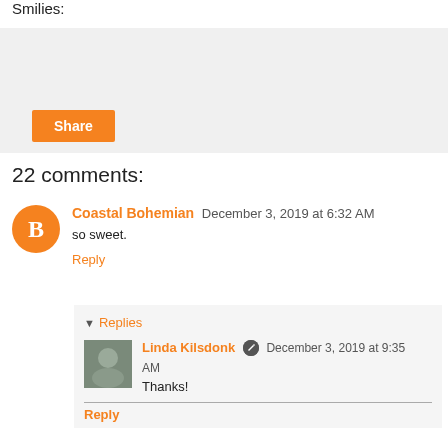Smilies:
[Figure (other): Share button area with light gray background and orange Share button]
22 comments:
Coastal Bohemian  December 3, 2019 at 6:32 AM
so sweet.
Reply
Replies
Linda Kilsdonk  December 3, 2019 at 9:35 AM
Thanks!
Reply